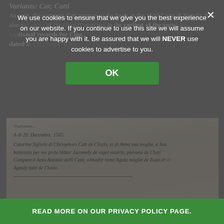Variants: Cat; Catti
As seen, the surname Catt appears as far back as the 1550 Carta di Regola. It is also the name of the child (Cattarina) in the earliest of the surviving baptismal records for Cloz, dated 2...
[Figure (photo): Old handwritten manuscript in Italian cursive, dated 20 December 1565, recording the baptism of Catarina, daughter of Chriophoro Catt de Clozio and his wife Anna.]
Click on image to see it larger
Now extinct, the surname Catt appears in Cloz records at least through the 1630s, but I haven't researched it in enough depth to say whether it was replaced by another name or simply died
We use cookies to ensure that we give you the best experience on our website. If you continue to use this site we will assume you are happy with it. Be assured that we will NEVER use cookies to advertise to you.
OK
READ MORE ON OUR PRIVACY POLICY PAGE.